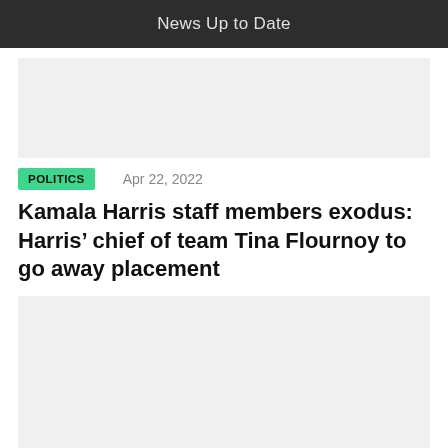News Up to Date
[Figure (other): Advertisement or image placeholder (light gray rectangle)]
POLITICS   Apr 22, 2022
Kamala Harris staff members exodus: Harris’ chief of team Tina Flournoy to go away placement
[Figure (other): Advertisement or image placeholder (light gray rectangle)]